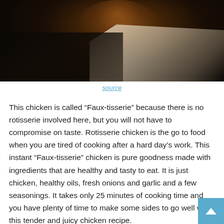[Figure (photo): Dark moody food photograph of roasted/grilled chicken pieces on parchment paper against a dark wooden background]
source
This chicken is called “Faux-tisserie” because there is no rotisserie involved here, but you will not have to compromise on taste. Rotisserie chicken is the go to food when you are tired of cooking after a hard day’s work. This instant “Faux-tisserie” chicken is pure goodness made with ingredients that are healthy and tasty to eat. It is just chicken, healthy oils, fresh onions and garlic and a few seasonings. It takes only 25 minutes of cooking time and you have plenty of time to make some sides to go well with this tender and juicy chicken recipe.